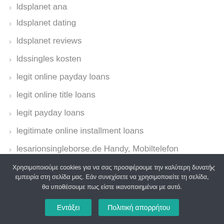ldsplanet ana
ldsplanet dating
ldsplanet reviews
ldssingles kosten
legit online payday loans
legit online title loans
legit payday loans
legitimate online installment loans
lesarionsingleborse.de Handy, Mobiltelefon
Χρησιμοποιούμε cookies για να σας προσφέρουμε την καλύτερη δυνατή εμπειρία στη σελίδα μας. Εάν συνεχίσετε να χρησιμοποιείτε τη σελίδα, θα υποθέσουμε πως είστε ικανοποιημένοι με αυτό.